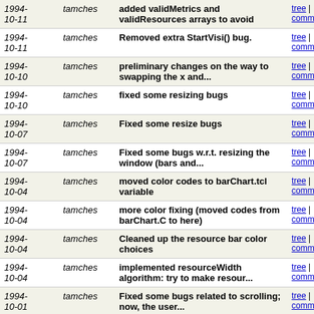| Date | Author | Message | Links |
| --- | --- | --- | --- |
| 1994-10-11 | tamches | added validMetrics and validResources arrays to avoid | tree | commitdiff |
| 1994-10-11 | tamches | Removed extra StartVisi() bug. | tree | commitdiff |
| 1994-10-10 | tamches | preliminary changes on the way to swapping the x and... | tree | commitdiff |
| 1994-10-10 | tamches | fixed some resizing bugs | tree | commitdiff |
| 1994-10-07 | tamches | Fixed some resize bugs | tree | commitdiff |
| 1994-10-07 | tamches | Fixed some bugs w.r.t. resizing the window (bars and... | tree | commitdiff |
| 1994-10-04 | tamches | moved color codes to barChart.tcl variable | tree | commitdiff |
| 1994-10-04 | tamches | more color fixing (moved codes from barChart.C to here) | tree | commitdiff |
| 1994-10-04 | tamches | Cleaned up the resource bar color choices | tree | commitdiff |
| 1994-10-04 | tamches | implemented resourceWidth algorithm: try to make resour... | tree | commitdiff |
| 1994-10-01 | tamches | Fixed some bugs related to scrolling; now, the user... | tree | commitdiff |
| 1994-09-30 | tamches | reads resource width from tcl as "currResourceWidth... | tree | commitdiff |
| 1994-09-29 | tamches | minor cvs fixes | tree | commitdiff |
| 1994- | tamches | initial implementation. | tree | |